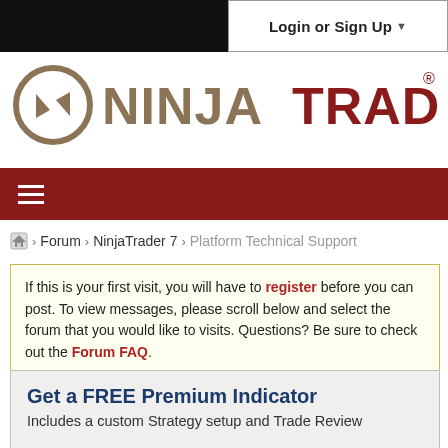Login or Sign Up
[Figure (logo): NinjaTrader logo with circular arrow icon and NINJATRADER text in dark red and brown]
[Figure (other): Dark red navigation bar with hamburger menu icon]
Forum > NinjaTrader 7 > Platform Technical Support
If this is your first visit, you will have to register before you can post. To view messages, please scroll below and select the forum that you would like to visits. Questions? Be sure to check out the Forum FAQ.
Get a FREE Premium Indicator
Includes a custom Strategy setup and Trade Review